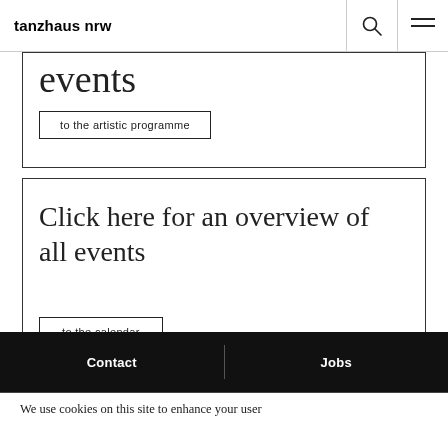tanzhaus nrw
events
to the artistic programme
Click here for an overview of all events
to the calendar
Contact | Jobs
We use cookies on this site to enhance your user